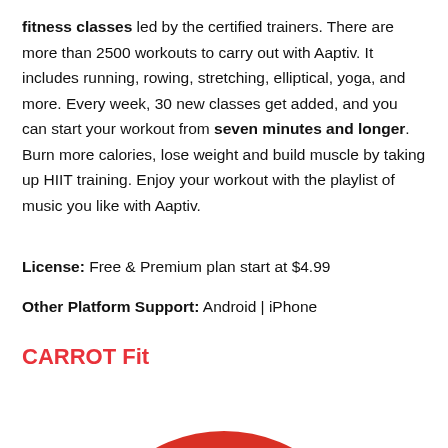fitness classes led by the certified trainers. There are more than 2500 workouts to carry out with Aaptiv. It includes running, rowing, stretching, elliptical, yoga, and more. Every week, 30 new classes get added, and you can start your workout from seven minutes and longer. Burn more calories, lose weight and build muscle by taking up HIIT training. Enjoy your workout with the playlist of music you like with Aaptiv.
License: Free & Premium plan start at $4.99
Other Platform Support: Android | iPhone
CARROT Fit
[Figure (photo): Red and black circular app icon for CARROT Fit, showing the top portion of a red donut/ring shape against a white background]